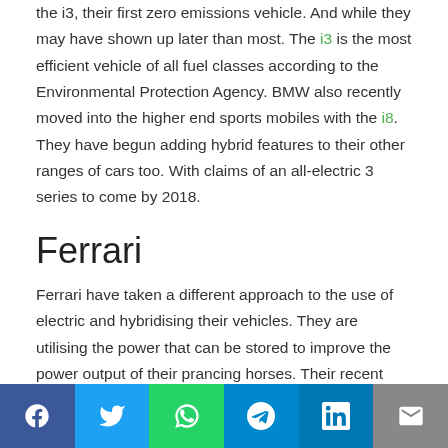the i3, their first zero emissions vehicle. And while they may have shown up later than most. The i3 is the most efficient vehicle of all fuel classes according to the Environmental Protection Agency. BMW also recently moved into the higher end sports mobiles with the i8. They have begun adding hybrid features to their other ranges of cars too. With claims of an all-electric 3 series to come by 2018.
Ferrari
Ferrari have taken a different approach to the use of electric and hybridising their vehicles. They are utilising the power that can be stored to improve the power output of their prancing horses. Their recent LaFerrari utilises systems similar to those on Formula one cars to return energy created in breaking or when too much power is created, into a battery. This stored energy is